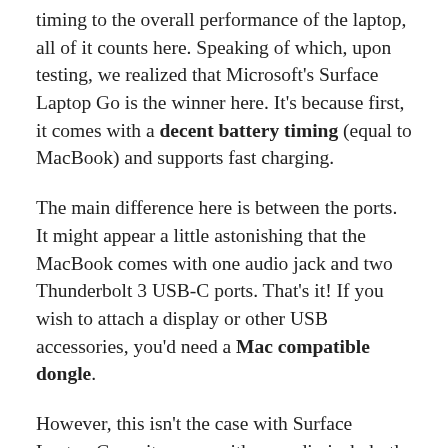timing to the overall performance of the laptop, all of it counts here. Speaking of which, upon testing, we realized that Microsoft's Surface Laptop Go is the winner here. It's because first, it comes with a decent battery timing (equal to MacBook) and supports fast charging.
The main difference here is between the ports. It might appear a little astonishing that the MacBook comes with one audio jack and two Thunderbolt 3 USB-C ports. That's it! If you wish to attach a display or other USB accessories, you'd need a Mac compatible dongle.
However, this isn't the case with Surface Laptop Go as it comes with an audio jack, both USB-C, and USB-A, and a separate Surface Connect port. With it, you won't ever have to worry about